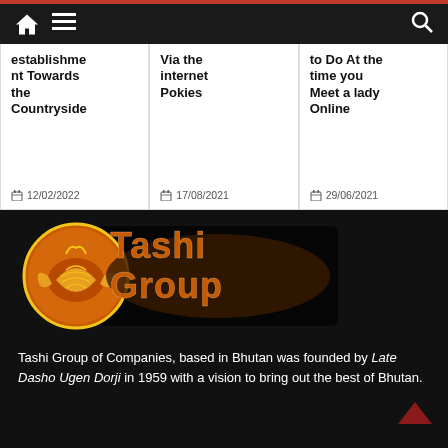Navigation bar with home, menu, and search icons
establishme nt Towards the Countryside
12/02/2022
Via the internet Pokies
17/08/2021
to Do At the time you Meet a lady Online
29/06/2021
[Figure (logo): Tashi Group logo with golden dragon/fish emblem on orange circle and orange bold text on black background]
Tashi Group of Companies, based in Bhutan was founded by Late Dasho Ugen Dorji in 1959 with a vision to bring out the best of Bhutan.